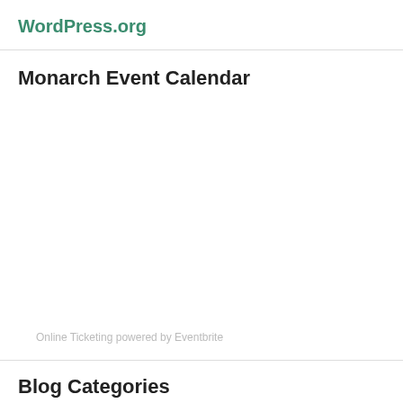WordPress.org
Monarch Event Calendar
Online Ticketing powered by Eventbrite
Blog Categories
Friday's Fun (1)
Miscellaneous Business (11)
Monarch Money Message (10)